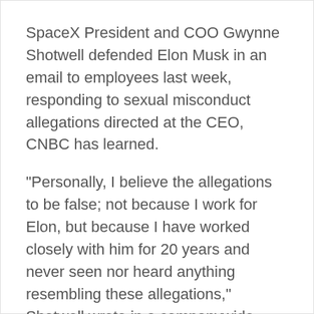SpaceX President and COO Gwynne Shotwell defended Elon Musk in an email to employees last week, responding to sexual misconduct allegations directed at the CEO, CNBC has learned.
"Personally, I believe the allegations to be false; not because I work for Elon, but because I have worked closely with him for 20 years and never seen nor heard anything resembling these allegations," Shotwell wrote in a companywide email sent on Friday and seen by CNBC.
Musk has denied the allegations, which claim he propositioned a flight attendant on one of SpaceX's private jets in 2016, calling them “wild accusations.”